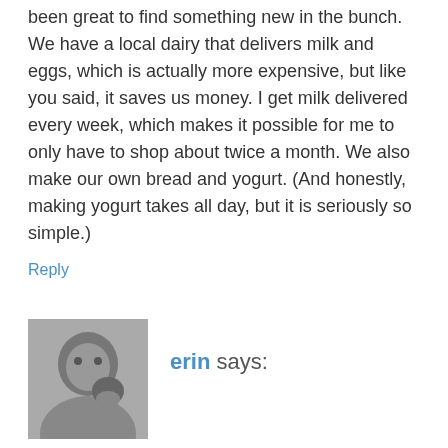been great to find something new in the bunch. We have a local dairy that delivers milk and eggs, which is actually more expensive, but like you said, it saves us money. I get milk delivered every week, which makes it possible for me to only have to shop about twice a month. We also make our own bread and yogurt. (And honestly, making yogurt takes all day, but it is seriously so simple.)
Reply
[Figure (photo): Black and white avatar photo of a woman with a dog]
erin says:
January 31, 2012 at 10:26 am
I love this post, Stephanie! You get what you pay for! I agree so much! I can't claim to dislike all garbage food. But I love good food & seek to eat that most of